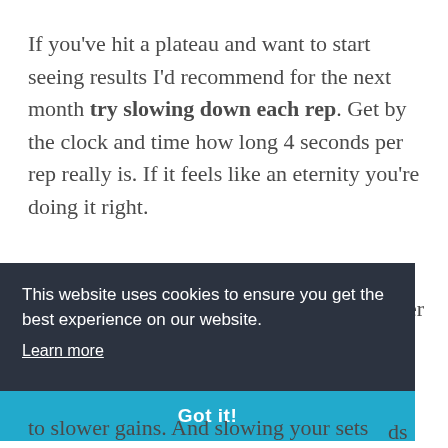If you've hit a plateau and want to start seeing results I'd recommend for the next month try slowing down each rep. Get by the clock and time how long 4 seconds per rep really is. If it feels like an eternity you're doing it right.
ver ost
This website uses cookies to ensure you get the best experience on our website. Learn more
Got it!
ds to slower gains. And slowing your sets